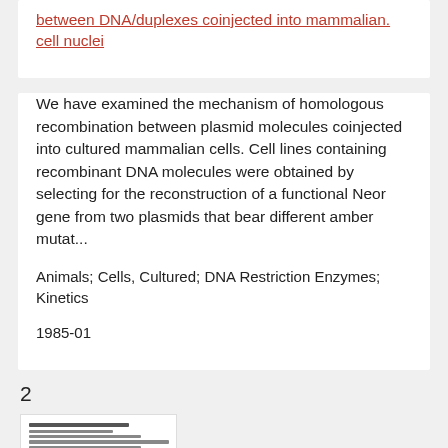between DNA/duplexes coinjected into mammalian. cell nuclei
We have examined the mechanism of homologous recombination between plasmid molecules coinjected into cultured mammalian cells. Cell lines containing recombinant DNA molecules were obtained by selecting for the reconstruction of a functional Neor gene from two plasmids that bear different amber mutat...
Animals; Cells, Cultured; DNA Restriction Enzymes; Kinetics
1985-01
2
[Figure (other): Thumbnail image of a scientific paper/document page showing text columns]